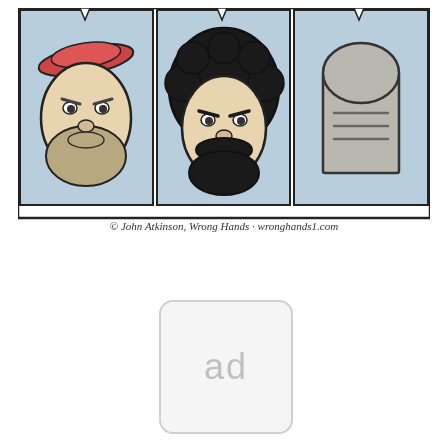[Figure (illustration): A comic strip panel (bottom portion visible) showing three cartoon characters in separate bordered panels with light blue backgrounds. Left panel: a figure wearing a red/pink beret with gray/tan beard and angry expression. Middle panel: a figure with large curly black hair and thick black mustache and beard with angry expression. Right panel: a gray tombstone shape with horizontal lines. Below the panels is a copyright line reading: © John Atkinson, Wrong Hands · wronghands1.com]
[Figure (other): An advertisement placeholder box with rounded corners, light gray border and background, containing the text 'ad' in gray.]